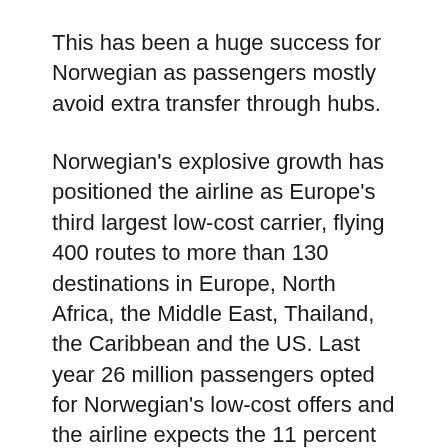This has been a huge success for Norwegian as passengers mostly avoid extra transfer through hubs.
Norwegian's explosive growth has positioned the airline as Europe's third largest low-cost carrier, flying 400 routes to more than 130 destinations in Europe, North Africa, the Middle East, Thailand, the Caribbean and the US. Last year 26 million passengers opted for Norwegian's low-cost offers and the airline expects the 11 percent growth seen last year to continue as it opens more routes in the coming years, with Canada, South America and South Africa all on the cards.
This pace of growth should see them double in size every 6 years.